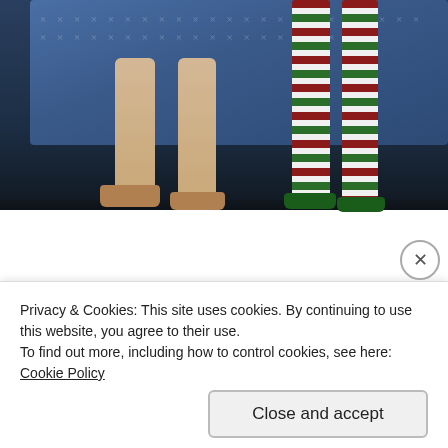[Figure (photo): Partial view of two knitted dolls standing in front of a blue patterned sofa. Left doll has beige/tan knitted legs with brown knitted slippers. Right doll has red, white, and green striped knitted legs with green feet/slippers. Dark floor beneath them.]
[Figure (screenshot): Advertisement banner with dark icon and text: 'same page is easy. And free.' with 'REPORT THIS AD' label below right.]
Privacy & Cookies: This site uses cookies. By continuing to use this website, you agree to their use.
To find out more, including how to control cookies, see here: Cookie Policy
Close and accept